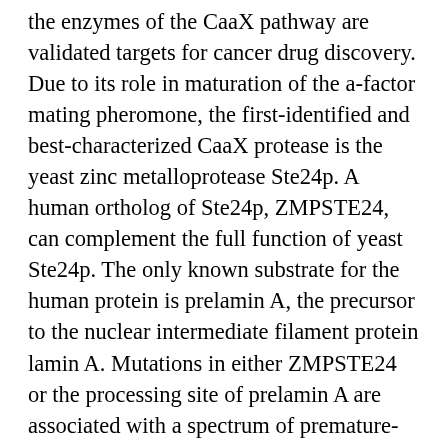the enzymes of the CaaX pathway are validated targets for cancer drug discovery. Due to its role in maturation of the a-factor mating pheromone, the first-identified and best-characterized CaaX protease is the yeast zinc metalloprotease Ste24p. A human ortholog of Ste24p, ZMPSTE24, can complement the full function of yeast Ste24p. The only known substrate for the human protein is prelamin A, the precursor to the nuclear intermediate filament protein lamin A. Mutations in either ZMPSTE24 or the processing site of prelamin A are associated with a spectrum of premature-aging diseases referred to as progeria. Also, ZMPSTE24 is inhibited by antiviral drugs designed to target the HIV aspartyl protease, and this off-target effect may give rise to some of the severe side-effects of these drugs. We determined the crystal structure of yeast Ste24p. Its core structure is a ring of seven transmembrane helices enclosing a large (14,000 3) interior volume (CAVITY) that contains the active-site and substrate binding region (GROOVE). The cavity is accessible to the